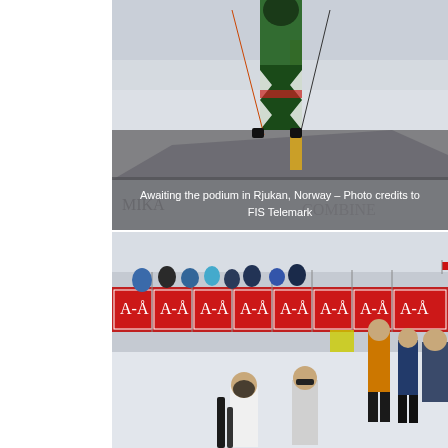[Figure (photo): A skier in green and black shark-patterned suit holding poles, standing on a snowy slope awaiting the podium in Rjukan, Norway. Photo by FIS Telemark.]
Awaiting the podium in Rjukan, Norway – Photo credits to FIS Telemark
[Figure (photo): A crowd scene at a ski competition finish area with red advertising banners reading 'A-Å', spectators lining the course, and skiers/athletes in the foreground on a snowy slope.]